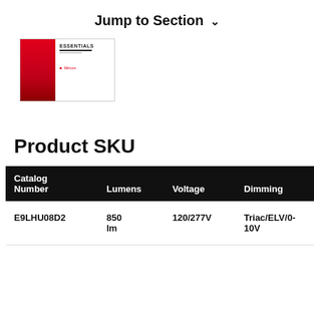Jump to Section ▾
[Figure (other): Thumbnail of a red-cover Essentials product catalog document]
Product SKU
| Catalog Number | Lumens | Voltage | Dimming | Sp |
| --- | --- | --- | --- | --- |
| E9LHU08D2 | 850 lm | 120/277V | Triac/ELV/0-10V | ⬇ |